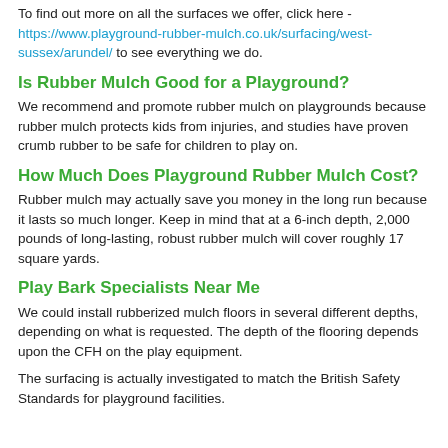To find out more on all the surfaces we offer, click here - https://www.playground-rubber-mulch.co.uk/surfacing/west-sussex/arundel/ to see everything we do.
Is Rubber Mulch Good for a Playground?
We recommend and promote rubber mulch on playgrounds because rubber mulch protects kids from injuries, and studies have proven crumb rubber to be safe for children to play on.
How Much Does Playground Rubber Mulch Cost?
Rubber mulch may actually save you money in the long run because it lasts so much longer. Keep in mind that at a 6-inch depth, 2,000 pounds of long-lasting, robust rubber mulch will cover roughly 17 square yards.
Play Bark Specialists Near Me
We could install rubberized mulch floors in several different depths, depending on what is requested. The depth of the flooring depends upon the CFH on the play equipment.
The surfacing is actually investigated to match the British Safety Standards for playground facilities.